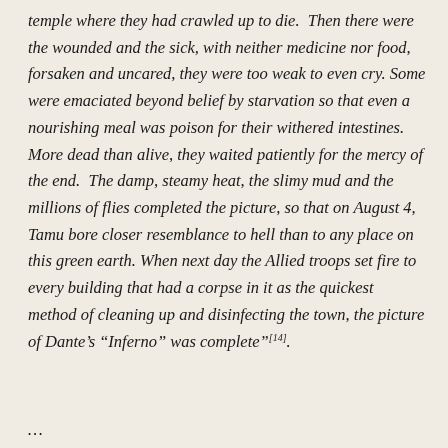temple where they had crawled up to die. Then there were the wounded and the sick, with neither medicine nor food, forsaken and uncared, they were too weak to even cry. Some were emaciated beyond belief by starvation so that even a nourishing meal was poison for their withered intestines. More dead than alive, they waited patiently for the mercy of the end. The damp, steamy heat, the slimy mud and the millions of flies completed the picture, so that on August 4, Tamu bore closer resemblance to hell than to any place on this green earth. When next day the Allied troops set fire to every building that had a corpse in it as the quickest method of cleaning up and disinfecting the town, the picture of Dante's “Inferno” was complete”[14].
...